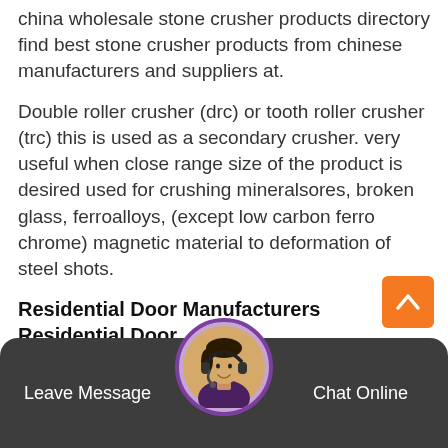china wholesale stone crusher products directory find best stone crusher products from chinese manufacturers and suppliers at.
Double roller crusher (drc) or tooth roller crusher (trc) this is used as a secondary crusher. very useful when close range size of the product is desired used for crushing mineralsores, broken glass, ferroalloys, (except low carbon ferro chrome) magnetic material to deformation of steel shots.
Residential Door Manufacturers Residential Door
Find quality residential door manufacturers and residential door suppliers at. browse verified manufacturer of residential door who supply directly to vendors.
[Figure (other): Back to top orange button with upward arrow chevron]
[Figure (photo): Customer service representative avatar with headset, circular photo with purple border]
Leave Message   Chat Online